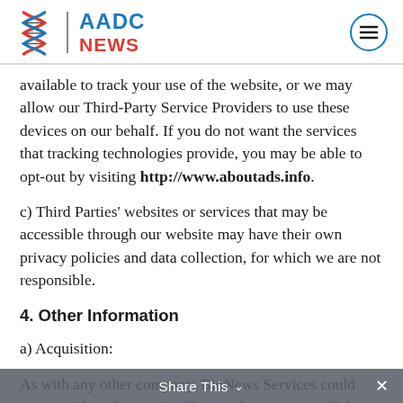[Figure (logo): AADC News logo with DNA helix icon and hamburger menu icon]
available to track your use of the website, or we may allow our Third-Party Service Providers to use these devices on our behalf. If you do not want the services that tracking technologies provide, you may be able to opt-out by visiting http://www.aboutads.info.
c) Third Parties' websites or services that may be accessible through our website may have their own privacy policies and data collection, for which we are not responsible.
4. Other Information
a) Acquisition:
As with any other company, BioNews Services could merge with, or be acquired by another company. If this occurs, the successor company
Share This ˅  ×